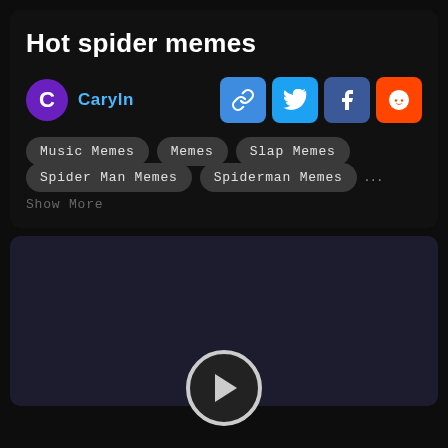Hot spider memes
Caryln
Music Memes
Memes
Slap Memes
Spider Man Memes
Spiderman Memes
Show More
[Figure (screenshot): Dark content area below with a play button circle at the bottom center]